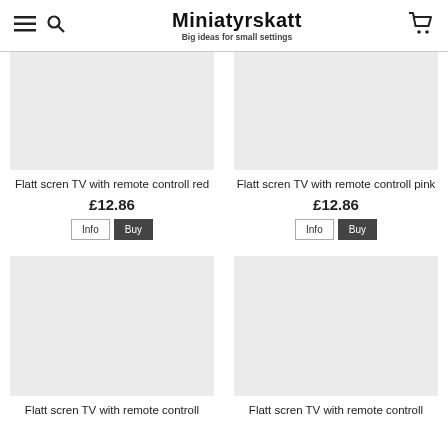Miniatyrskatt — Big ideas for small settings
Flatt scren TV with remote controll red
£12.86
Flatt scren TV with remote controll pink
£12.86
Flatt scren TV with remote controll
Flatt scren TV with remote controll